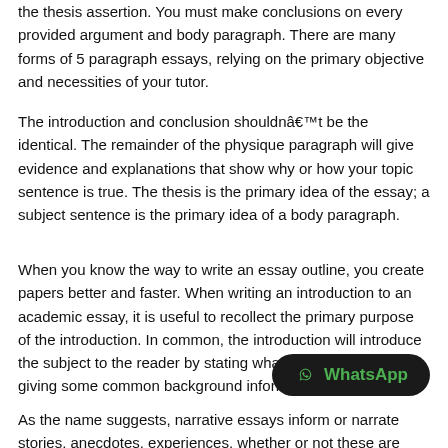the thesis assertion. You must make conclusions on every provided argument and body paragraph. There are many forms of 5 paragraph essays, relying on the primary objective and necessities of your tutor.
The introduction and conclusion shouldnât be the identical. The remainder of the physique paragraph will give evidence and explanations that show why or how your topic sentence is true. The thesis is the primary idea of the essay; a subject sentence is the primary idea of a body paragraph.
When you know the way to write an essay outline, you create papers better and faster. When writing an introduction to an academic essay, it is useful to recollect the primary purpose of the introduction. In common, the introduction will introduce the subject to the reader by stating what the subject is and giving some common background information.
As the name suggests, narrative essays inform or narrate stories, anecdotes, experiences, whether or not these are private or non-